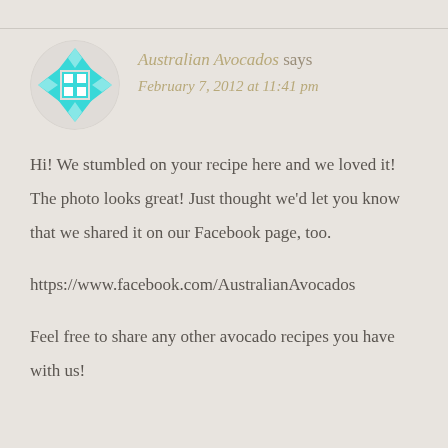[Figure (logo): Circular avatar with a cyan/turquoise geometric quilt-like pattern on light background]
Australian Avocados says
February 7, 2012 at 11:41 pm
Hi! We stumbled on your recipe here and we loved it! The photo looks great! Just thought we'd let you know that we shared it on our Facebook page, too.
https://www.facebook.com/AustralianAvocados
Feel free to share any other avocado recipes you have with us!